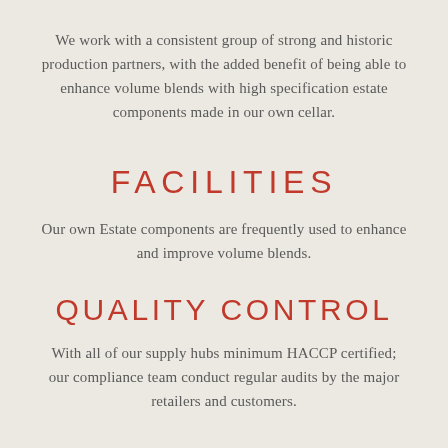We work with a consistent group of strong and historic production partners, with the added benefit of being able to enhance volume blends with high specification estate components made in our own cellar.
FACILITIES
Our own Estate components are frequently used to enhance and improve volume blends.
QUALITY CONTROL
With all of our supply hubs minimum HACCP certified; our compliance team conduct regular audits by the major retailers and customers.